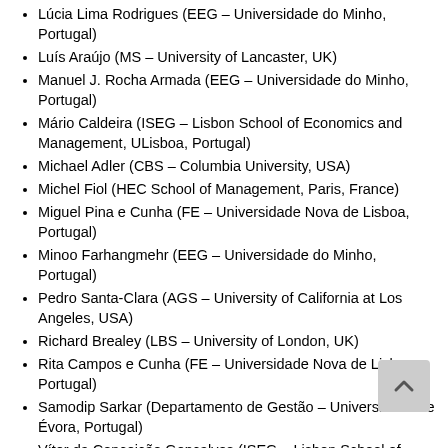Lúcia Lima Rodrigues (EEG – Universidade do Minho, Portugal)
Luís Araújo (MS – University of Lancaster, UK)
Manuel J. Rocha Armada (EEG – Universidade do Minho, Portugal)
Mário Caldeira (ISEG – Lisbon School of Economics and Management, ULisboa, Portugal)
Michael Adler (CBS – Columbia University, USA)
Michel Fiol (HEC School of Management, Paris, France)
Miguel Pina e Cunha (FE – Universidade Nova de Lisboa, Portugal)
Minoo Farhangmehr (EEG – Universidade do Minho, Portugal)
Pedro Santa-Clara (AGS – University of California at Los Angeles, USA)
Richard Brealey (LBS – University of London, UK)
Rita Campos e Cunha (FE – Universidade Nova de Lisboa, Portugal)
Samodip Sarkar (Departamento de Gestão – Universidade de Évora, Portugal)
Vítor da Conceição Gonçalves (ISEG – Lisbon School of Economics and Management, ULisboa, Portugal)